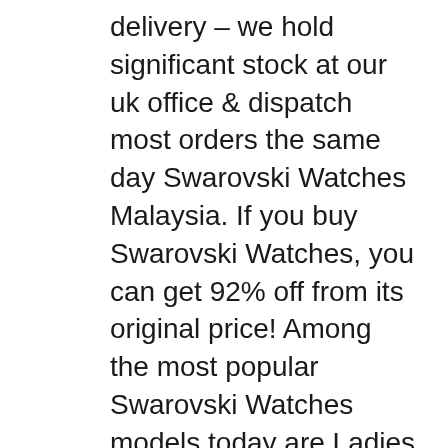delivery – we hold significant stock at our uk office & dispatch most orders the same day Swarovski Watches Malaysia. If you buy Swarovski Watches, you can get 92% off from its original price! Among the most popular Swarovski Watches models today are Ladies Watch, Clearance SaleрцЋЉ 3 In 1 Watch вЋь White Edition With Bracelet & Necklace and Crystaline Oval Rose Gold Tone Watch 5200341.
03/07/2019В В· https://www.valencia.com.ua/lovely-crystals-mini-chaci-swarovski-ottenok-zolota.html РЋСЋСЃРё РС,Рё Р±Р»РµСЃС,СЦС‰РёРµ СЃРsРICЋРµРjРµРSРSС‹Рµ СЃР°СЃС‹